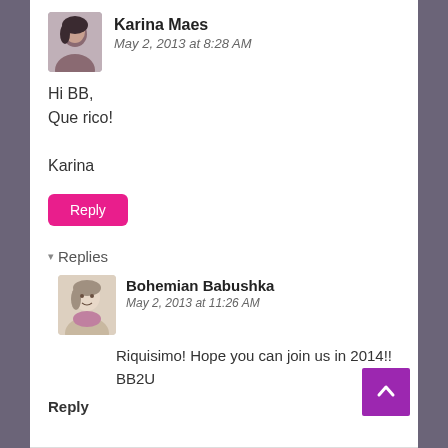Karina Maes
May 2, 2013 at 8:28 AM
Hi BB,
Que rico!

Karina
Reply
Replies
Bohemian Babushka
May 2, 2013 at 11:26 AM
Riquisimo! Hope you can join us in 2014!!
BB2U
Reply